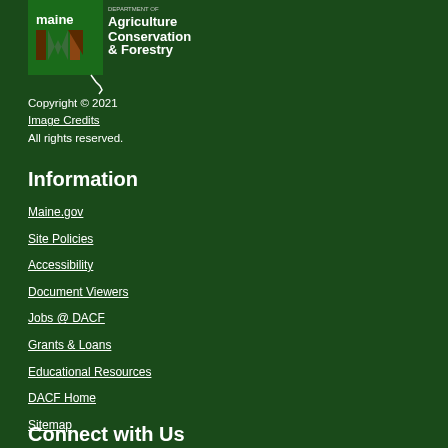[Figure (logo): Maine Department of Agriculture Conservation & Forestry logo with state outline]
Copyright © 2021
Image Credits
All rights reserved.
Information
Maine.gov
Site Policies
Accessibility
Document Viewers
Jobs @ DACF
Grants & Loans
Educational Resources
DACF Home
Sitemap
Connect with Us